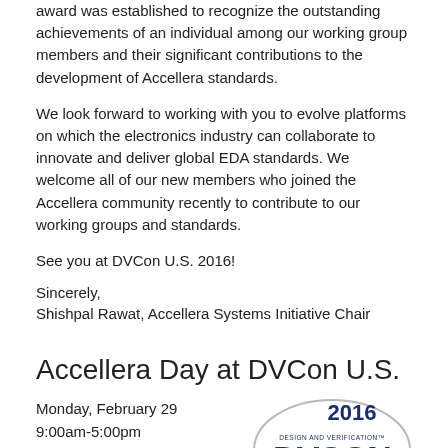award was established to recognize the outstanding achievements of an individual among our working group members and their significant contributions to the development of Accellera standards.
We look forward to working with you to evolve platforms on which the electronics industry can collaborate to innovate and deliver global EDA standards. We welcome all of our new members who joined the Accellera community recently to contribute to our working groups and standards.
See you at DVCon U.S. 2016!
Sincerely,
Shishpal Rawat, Accellera Systems Initiative Chair
Accellera Day at DVCon U.S.
Monday, February 29
9:00am-5:00pm
DoubleTree Hotel, San Jose, CA
Accellera invites you to join us as we
[Figure (logo): DVCon 2016 Design and Verification Conference and Exhibition United States logo with yellow/gold banner at bottom]